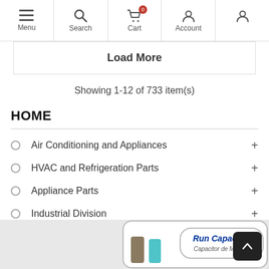Menu | Search | Cart (0) | Account | My W
Load More
Showing 1-12 of 733 item(s)
HOME
Air Conditioning and Appliances
HVAC and Refrigeration Parts
Appliance Parts
Industrial Division
Shop
[Figure (photo): Product image showing Run Capacitor / Capacitor de Marcha with cylindrical capacitor components]